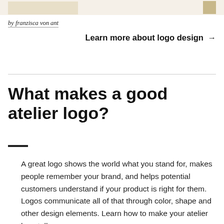[Figure (photo): Partial image strip at top of page showing decorative objects on a light beige/cream background, with a small golden/tan box visible at the right edge.]
by franzisca von ant
Learn more about logo design →
What makes a good atelier logo?
A great logo shows the world what you stand for, makes people remember your brand, and helps potential customers understand if your product is right for them. Logos communicate all of that through color, shape and other design elements. Learn how to make your atelier logo tell your